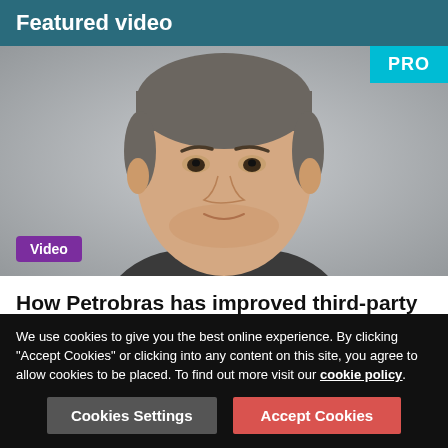Featured video
[Figure (photo): Headshot of a man with grey-streaked hair against a light grey background. A teal 'PRO' badge appears in the top right corner. A purple 'Video' badge appears in the bottom left.]
How Petrobras has improved third-party due diligence since Operation Carwash
3m 31s
We use cookies to give you the best online experience. By clicking "Accept Cookies" or clicking into any content on this site, you agree to allow cookies to be placed. To find out more visit our cookie policy.
Cookies Settings
Accept Cookies